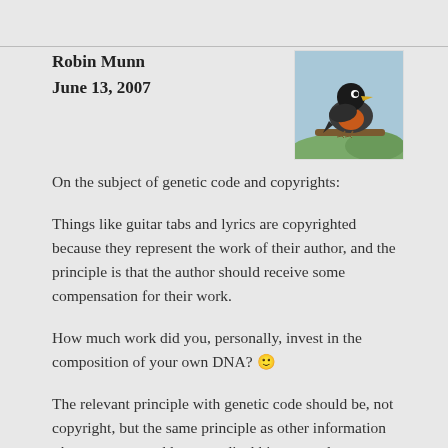Robin Munn
June 13, 2007
[Figure (illustration): Illustration of a robin bird with orange-red breast, dark gray back and head, perched on a branch with green background]
On the subject of genetic code and copyrights:
Things like guitar tabs and lyrics are copyrighted because they represent the work of their author, and the principle is that the author should receive some compensation for their work.
How much work did you, personally, invest in the composition of your own DNA? 🙂
The relevant principle with genetic code should be, not copyright, but the same principle as other information about a person: address, medical history, and so on. Some of it (medical info) is